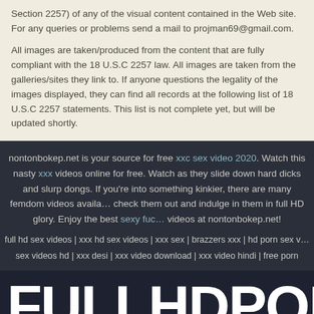Section 2257) of any of the visual content contained in the Web site. For any queries or problems send a mail to projman69@gmail.com.
All images are taken/produced from the content that are fully compliant with the 18 U.S.C 2257 law. All images are taken from the galleries/sites they link to. If anyone questions the legality of the images displayed, they can find all records at the following list of 18 U.S.C 2257 statements. This list is not complete yet, but will be updated shortly.
nontonbokep.net is your source for free xxc sex video 2020. Watch this nasty xxx videos online for free. Watch as they slide down hard dicks and slurp dongs. If you're into something kinkier, there are many femdom videos available, check them out and indulge in them in full HD glory. Enjoy the best sexy fuck videos at nontonbokep.net!
full hd sex videos | xxx hd sex videos | xxx sex | brazzers xxx | hd porn sex videos | sex videos hd | xxx desi | xxx video download | xxx video hindi | free porn
FULLHDPOR